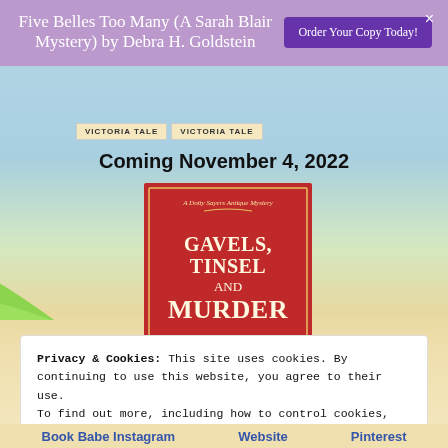Five Belles Too Many (A Sarah Blair Mystery) by Debra H. Goldstein
[Figure (screenshot): Purple promotional banner with book title and 'Order Your Copy Today!' button, with a beach scene background featuring palm leaves and two 'Victoria Tale' book label strips]
Coming November 4, 2022
[Figure (photo): Book cover for 'Gavels, Tinsel and Murder - A Dotty Sayers Antique Mystery' with red background and Union Jack imagery]
Privacy & Cookies: This site uses cookies. By continuing to use this website, you agree to their use.
To find out more, including how to control cookies, see here: Cookie Policy
Close and accept
Book Babe Instagram   Website   Pinterest